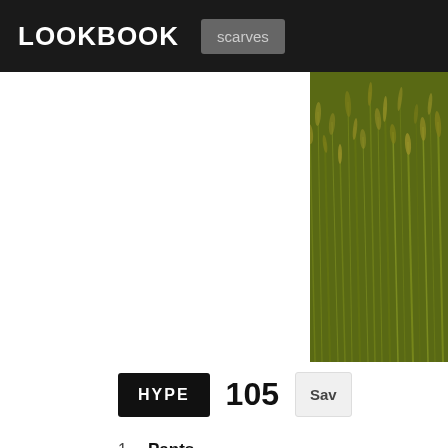LOOKBOOK | scarves
[Figure (photo): Outdoor photo showing dense green-yellow wild grass/reeds in a field]
HYPE 105 Save
1 Pants — Zara in Zara Pants
2 T Shirt — Uniqlo in Uniqlo Shirts
3 Bandana — Versace in Versace Scarves
4 Glasses — Ray-Ban in Ray-Ban Glasses